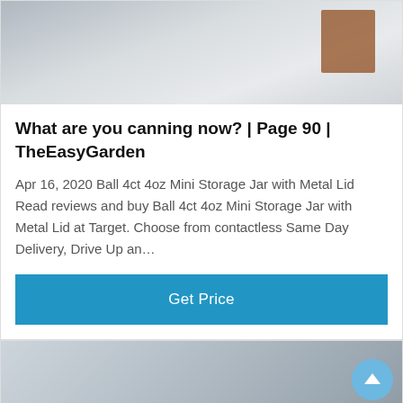[Figure (photo): Top portion of an industrial/warehouse scene with machinery and wooden crates on a concrete floor]
What are you canning now? | Page 90 | TheEasyGarden
Apr 16, 2020 Ball 4ct 4oz Mini Storage Jar with Metal Lid Read reviews and buy Ball 4ct 4oz Mini Storage Jar with Metal Lid at Target. Choose from contactless Same Day Delivery, Drive Up an…
[Figure (other): Blue Get Price button]
[Figure (photo): Industrial machinery scene with rusty equipment, with a customer service chat bar at bottom showing Leave Message and Chat Online options with a headset agent avatar]